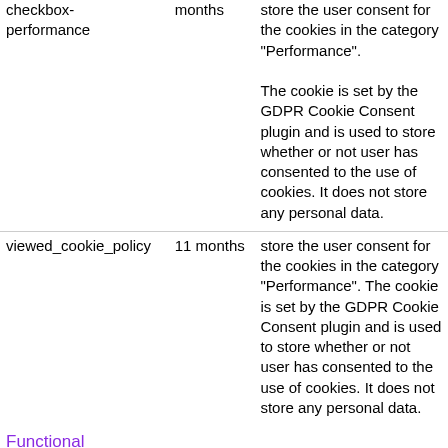| Cookie | Duration | Description |
| --- | --- | --- |
| checkbox-performance | months | store the user consent for the cookies in the category "Performance". The cookie is set by the GDPR Cookie Consent plugin and is used to store whether or not user has consented to the use of cookies. It does not store any personal data. |
| viewed_cookie_policy | 11 months | store the user consent for the cookies in the category "Performance". The cookie is set by the GDPR Cookie Consent plugin and is used to store whether or not user has consented to the use of cookies. It does not store any personal data. |
Functional
☐ Functional
Functional cookies help to perform certain